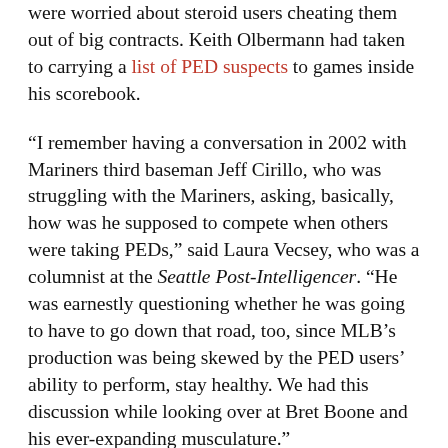were worried about steroid users cheating them out of big contracts. Keith Olbermann had taken to carrying a list of PED suspects to games inside his scorebook.
“I remember having a conversation in 2002 with Mariners third baseman Jeff Cirillo, who was struggling with the Mariners, asking, basically, how was he supposed to compete when others were taking PEDs,” said Laura Vecsey, who was a columnist at the Seattle Post-Intelligencer. “He was earnestly questioning whether he was going to have to go down that road, too, since MLB’s production was being skewed by the PED users’ ability to perform, stay healthy. We had this discussion while looking over at Bret Boone and his ever-expanding musculature.”
But reporters still couldn’t fashion a story from pure pluck. As it happened, almost every PED user outed in the press came as a result of reporting on official documents (the